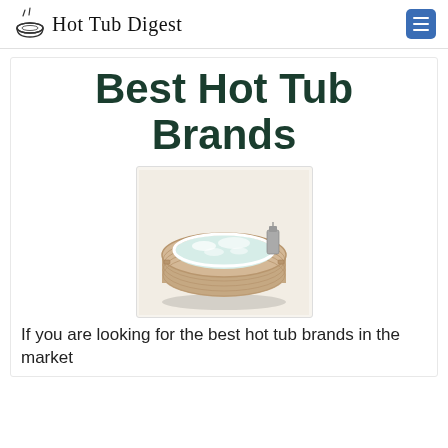Hot Tub Digest
Best Hot Tub Brands
[Figure (photo): Inflatable round hot tub with bubbling water and a small attached pump/heater unit, tan/beige color]
If you are looking for the best hot tub brands in the market